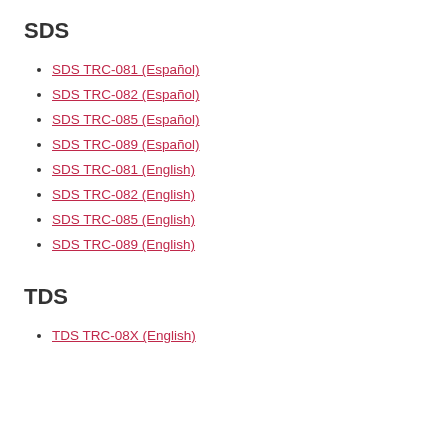SDS
SDS TRC-081 (Español)
SDS TRC-082 (Español)
SDS TRC-085 (Español)
SDS TRC-089 (Español)
SDS TRC-081 (English)
SDS TRC-082 (English)
SDS TRC-085 (English)
SDS TRC-089 (English)
TDS
TDS TRC-08X (English)